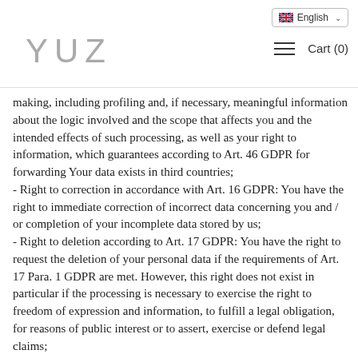English | YUZ | Cart (0)
making, including profiling and, if necessary, meaningful information about the logic involved and the scope that affects you and the intended effects of such processing, as well as your right to information, which guarantees according to Art. 46 GDPR for forwarding Your data exists in third countries;
- Right to correction in accordance with Art. 16 GDPR: You have the right to immediate correction of incorrect data concerning you and / or completion of your incomplete data stored by us;
- Right to deletion according to Art. 17 GDPR: You have the right to request the deletion of your personal data if the requirements of Art. 17 Para. 1 GDPR are met. However, this right does not exist in particular if the processing is necessary to exercise the right to freedom of expression and information, to fulfill a legal obligation, for reasons of public interest or to assert, exercise or defend legal claims;
- Right to restriction of processing in accordance with Art. 18 GDPR: You have the right to request the restriction of the